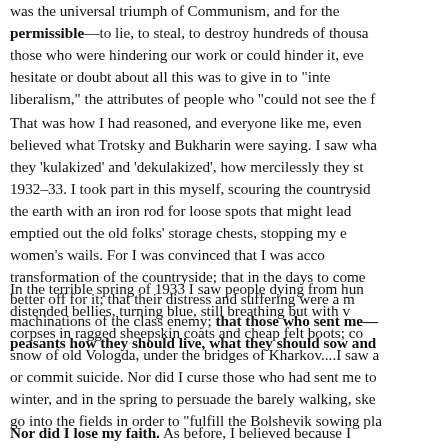was the universal triumph of Communism, and for the permissible—to lie, to steal, to destroy hundreds of thousands of those who were hindering our work or could hinder it, even to hesitate or doubt about all this was to give in to "intellectual liberalism," the attributes of people who "could not see the f...
That was how I had reasoned, and everyone like me, even believed what Trotsky and Bukharin were saying. I saw what they 'kulakized' and 'dekulakized', how mercilessly they struck 1932–33. I took part in this myself, scouring the countryside the earth with an iron rod for loose spots that might lead, emptied out the old folks' storage chests, stopping my ears to women's wails. For I was convinced that I was accomplishing transformation of the countryside; that in the days to come it better off for it; that their distress and suffering were a result of machinations of the class enemy; that those who sent me— peasants how they should live, what they should sow and...
In the terrible spring of 1933 I saw people dying from hunger, distended bellies, turning blue, still breathing but with vacant eyes; corpses in ragged sheepskin coats and cheap felt boots; corpses in the snow of old Vologda, under the bridges of Kharkov....I saw and did not go mad or commit suicide. Nor did I curse those who had sent me there in the winter, and in the spring to persuade the barely walking, skeleton-thin people to go into the fields in order to "fulfill the Bolshevik sowing pla...
Nor did I lose my faith. As before, I believed because I...